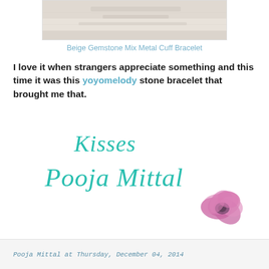[Figure (photo): Close-up photo of a person wearing a white knit sweater, partial view of arm and torso with bracelet]
Beige Gemstone Mix Metal Cuff Bracelet
I love it when strangers appreciate something and this time it was this yoyomelody stone bracelet that brought me that.
[Figure (illustration): Signature graphic in teal cursive script reading 'Kisses Pooja Mittal' with a pink flower decoration]
Pooja Mittal at Thursday, December 04, 2014